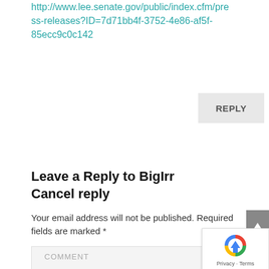http://www.lee.senate.gov/public/index.cfm/press-releases?ID=7d71bb4f-3752-4e86-af5f-85ecc9c0c142
REPLY
Leave a Reply to BigIrr Cancel reply
Your email address will not be published. Required fields are marked *
COMMENT